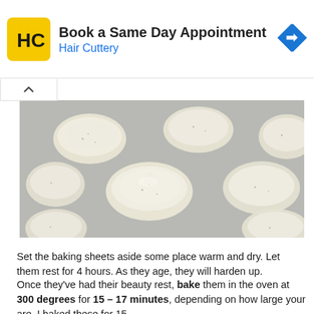[Figure (other): Advertisement banner for Hair Cuttery: 'Book a Same Day Appointment' with HC logo (yellow square, black H and C letters) and blue navigation arrow icon.]
[Figure (photo): Photo of unbaked macaron cookie rounds (beige/cream colored piped discs with small black specks) arranged on a grey baking sheet parchment, viewed from slightly above.]
Set the baking sheets aside some place warm and dry. Let them rest for 4 hours. As they age, they will harden up.
Once they've had their beauty rest, bake them in the oven at 300 degrees for 15 – 17 minutes, depending on how large your are. I baked these for 15.